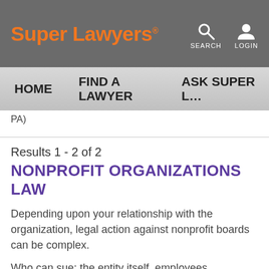Super Lawyers® — SEARCH  LOGIN
HOME   FIND A LAWYER   ASK SUPER L…
PA)
Results 1 - 2 of 2
NONPROFIT ORGANIZATIONS LAW
Depending upon your relationship with the organization, legal action against nonprofit boards can be complex.
Who can sue: the entity itself, employees, members, directors, associated 3rd parties, donors and the government.
Sources of claims may range from wrongful termination to mistreatment of members or constituents; violation of duty to harmful practices; violation of laws to misappropriation of